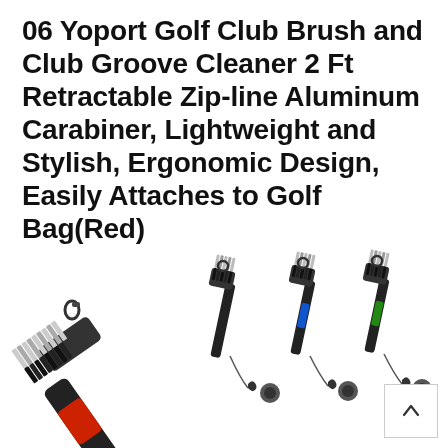06 Yoport Golf Club Brush and Club Groove Cleaner 2 Ft Retractable Zip-line Aluminum Carabiner, Lightweight and Stylish, Ergonomic Design, Easily Attaches to Golf Bag(Red)
[Figure (photo): Product photo showing four Yoport golf club brushes with retractable zip-line carabiners. The largest brush in the foreground has a black and red handle with dual-sided bristles. Three smaller brushes are shown in the background with black, blue+black, and green+black colored handles respectively, each with a retractable carabiner clip. A scroll-up button (arrow icon in a white box) is visible in the bottom-right corner.]